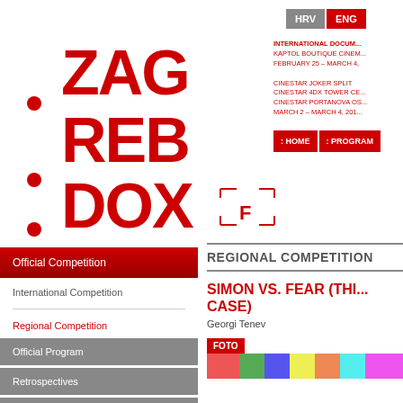[Figure (logo): ZagrebDOX logo in red — large stylized text ZAG REB DOX with dots and camera focus bracket]
HRV  ENG
INTERNATIONAL DOCUM... KAPTOL BOUTIQUE CINEM... FEBRUARY 25 - MARCH 4, ... CINESTAR JOKER SPLIT CINESTAR 4DX TOWER CE... CINESTAR PORTANOVA OS... MARCH 2 - MARCH 4, 201...
: HOME  : PROGRAM
Official Competition
International Competition
Regional Competition
Official Program
Retrospectives
Dox Special
REGIONAL COMPETITION
SIMON VS. FEAR (THE CASE)
Georgi Tenev
FOTO